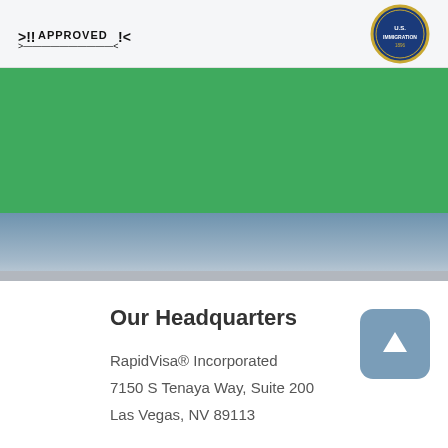[Figure (logo): Approved logo with exclamation marks and seal badge on light gray header bar]
[Figure (illustration): Green banner section]
[Figure (illustration): Blue gradient band followed by gray band]
Our Headquarters
RapidVisa® Incorporated
7150 S Tenaya Way, Suite 200
Las Vegas, NV 89113
Social